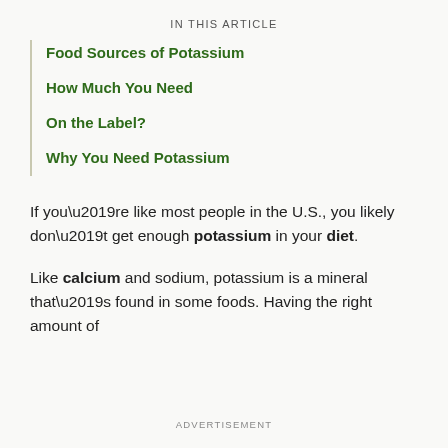IN THIS ARTICLE
Food Sources of Potassium
How Much You Need
On the Label?
Why You Need Potassium
If you’re like most people in the U.S., you likely don’t get enough potassium in your diet.
Like calcium and sodium, potassium is a mineral that’s found in some foods. Having the right amount of
ADVERTISEMENT